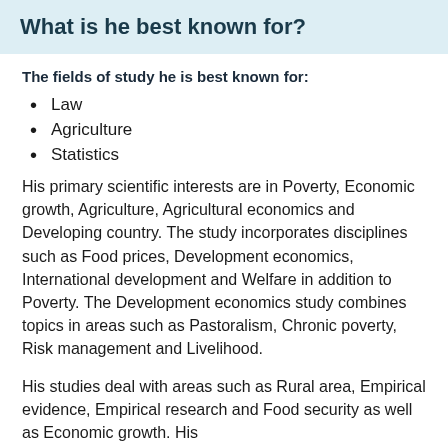What is he best known for?
The fields of study he is best known for:
Law
Agriculture
Statistics
His primary scientific interests are in Poverty, Economic growth, Agriculture, Agricultural economics and Developing country. The study incorporates disciplines such as Food prices, Development economics, International development and Welfare in addition to Poverty. The Development economics study combines topics in areas such as Pastoralism, Chronic poverty, Risk management and Livelihood.
His studies deal with areas such as Rural area, Empirical evidence, Empirical research and Food security as well as Economic growth. His